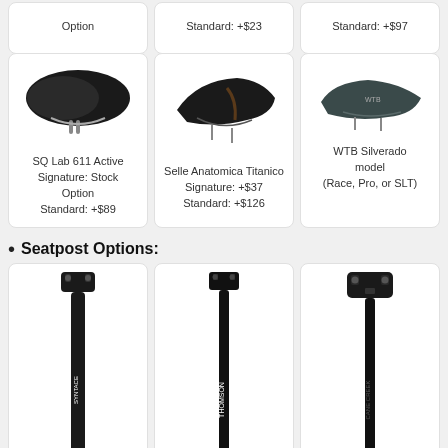[Figure (photo): Partial card showing 'Option' text, top of page]
[Figure (photo): Partial card showing 'Standard: +$23' text, top of page]
[Figure (photo): Partial card showing 'Standard: +$97' text, top of page]
[Figure (photo): SQ Lab 611 Active saddle photo]
SQ Lab 611 Active Signature: Stock Option
Standard: +$89
[Figure (photo): Selle Anatomica Titanico saddle photo]
Selle Anatomica Titanico
Signature: +$37
Standard: +$126
[Figure (photo): WTB Silverado saddle photo]
WTB Silverado model
(Race, Pro, or SLT)
Seatpost Options:
[Figure (photo): Black seatpost #1 photo]
[Figure (photo): Thomson seatpost photo]
[Figure (photo): Third black seatpost photo]